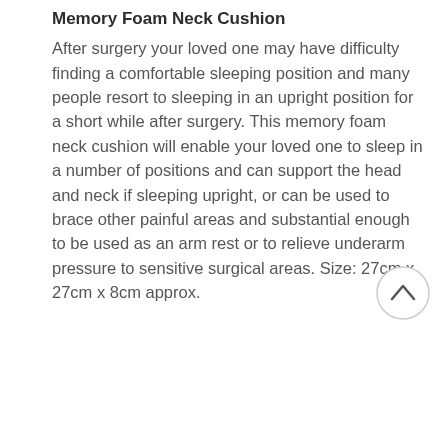Memory Foam Neck Cushion
After surgery your loved one may have difficulty finding a comfortable sleeping position and many people resort to sleeping in an upright position for a short while after surgery. This memory foam neck cushion will enable your loved one to sleep in a number of positions and can support the head and neck if sleeping upright, or can be used to brace other painful areas and substantial enough to be used as an arm rest or to relieve underarm pressure to sensitive surgical areas. Size: 27cm x 27cm x 8cm approx.